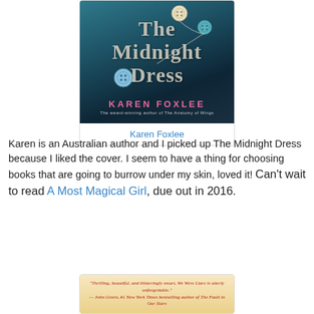[Figure (illustration): Book cover of 'The Midnight Dress' by Karen Foxlee – teal/dark blue fabric background with decorative buttons and thread, stylized vintage title text, pink author name, subtitle 'The award-winning author of The Anatomy of Wings']
Karen Foxlee
Karen is an Australian author and I picked up The Midnight Dress because I liked the cover. I seem to have a thing for choosing books that are going to burrow under my skin, loved it! Can't wait to read A Most Magical Girl, due out in 2016.
[Figure (illustration): Book cover partially visible – light golden/cream background with red italic quote text: 'Thrilling, beautiful, and blisteringly smart, We Were Liars is utterly unforgettable.' — John Green, #1 New York Times bestselling author of The Fault in Our Stars]